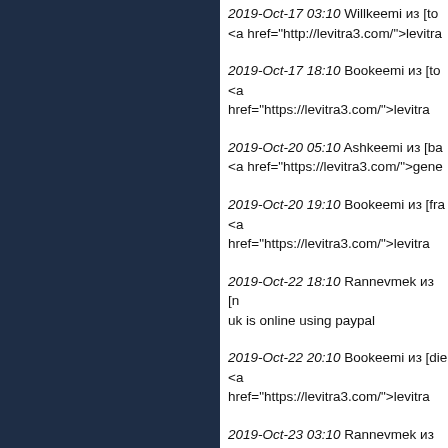2019-Oct-17 03:10 Willkeemi из [top... <a href="http://levitra3.com/">levitra...
2019-Oct-17 18:10 Bookeemi из [top... <a href="https://levitra3.com/">levitra...
2019-Oct-20 05:10 Ashkeemi из [baj... <a href="https://levitra3.com/">gene...
2019-Oct-20 19:10 Bookeemi из [fra... <a href="https://levitra3.com/">levitra...
2019-Oct-22 18:10 Rannevmek из [n... uk is online using paypal
2019-Oct-22 20:10 Bookeemi из [die... <a href="https://levitra3.com/">levitra...
2019-Oct-23 03:10 Rannevmek из [n... i recommend rx online is
2019-Oct-23 15:10 Rannevmek из [n... be cheap female is
2019-Oct-23 18:10 Rannevmek из [n... try it is price online
2019-Oct-23 23:10 Rannevmek из [n...